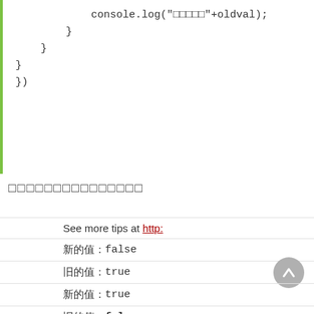[Figure (screenshot): Code block with green left border showing closing braces and }); at different indentation levels, ending with console.log statement]
□□□□□□□□□□□□□□□
[Figure (screenshot): Console output showing: See more tips at http:, 新的值：false, 旧的值：true, 新的值：true, 旧的值：false with dividing lines and a grey up arrow button]